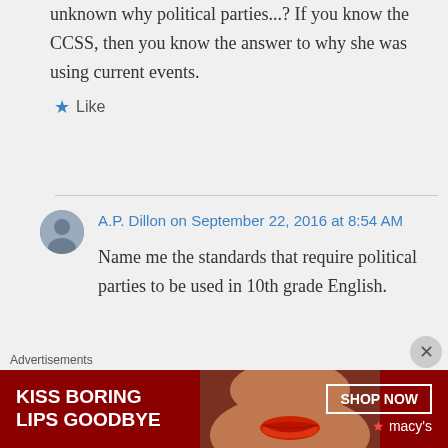unknown why political parties...? If you know the CCSS, then you know the answer to why she was using current events.
Like
A.P. Dillon on September 22, 2016 at 8:54 AM
Name me the standards that require political parties to be used in 10th grade English.
Advertisements
[Figure (photo): Macy's advertisement banner: KISS BORING LIPS GOODBYE with SHOP NOW button and Macy's logo]